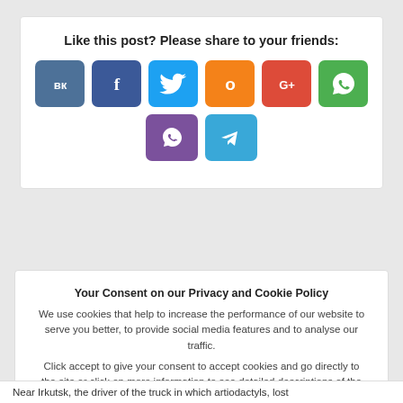Like this post? Please share to your friends:
[Figure (infographic): Social sharing buttons: VK, Facebook, Twitter, Odnoklassniki, Google+, WhatsApp, Viber, Telegram]
Related articles
Your Consent on our Privacy and Cookie Policy
We use cookies that help to increase the performance of our website to serve you better, to provide social media features and to analyse our traffic.
Click accept to give your consent to accept cookies and go directly to the site or click on more information to see detailed descriptions of the Privacy Policy.
View our Privacy & Cookie Policy.
OK
Near Irkutsk, the driver of the truck in which artiodactyls, lost